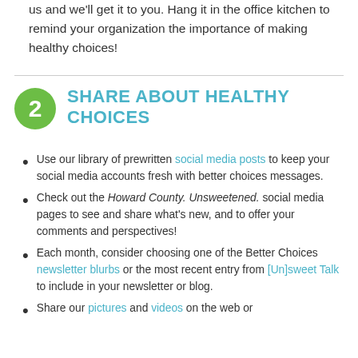Alternatively, order a free poster or two from us and we'll get it to you. Hang it in the office kitchen to remind your organization the importance of making healthy choices!
2 SHARE ABOUT HEALTHY CHOICES
Use our library of prewritten social media posts to keep your social media accounts fresh with better choices messages.
Check out the Howard County. Unsweetened. social media pages to see and share what's new, and to offer your comments and perspectives!
Each month, consider choosing one of the Better Choices newsletter blurbs or the most recent entry from [Un]sweet Talk to include in your newsletter or blog.
Share our pictures and videos on the web or